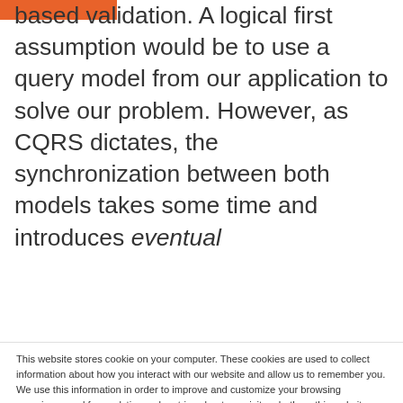based validation. A logical first assumption would be to use a query model from our application to solve our problem. However, as CQRS dictates, the synchronization between both models takes some time and introduces eventual
This website stores cookie on your computer. These cookies are used to collect information about how you interact with our website and allow us to remember you. We use this information in order to improve and customize your browsing experience and for analytics and metrics about our visitors both on this website and other media. To find out more about the cookies we use, see our Cookie Notice.

If you decline, your information won't be tracked when you visit this website. A single cookie will be used in your browser to remember your preference not to be tracked.